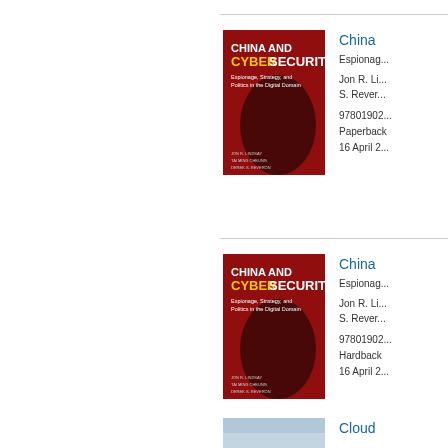[Figure (photo): Book cover: China and Cybersecurity, Espionage, Strategy, and Politics in the Digital Domain. Red background with dark silhouette. Authors listed at bottom.]
China and Cybersecurity
Espionage, Strategy, and Politics in the Digital Domain
Jon R. Lindsay, Tai Ming Cheung, Derek S. Reveron
9780190201... Paperback 16 April 2...
[Figure (photo): Book cover: China and Cybersecurity, Espionage, Strategy, and Politics in the Digital Domain. Red background with dark silhouette. Authors listed at bottom.]
China and Cybersecurity
Espionage, Strategy, and Politics in the Digital Domain
Jon R. Lindsay, Tai Ming Cheung, Derek S. Reveron
9780190201... Hardback 16 April 2...
[Figure (photo): Book cover: Cloud ... partial view, sky/cloud image.]
Cloud ...